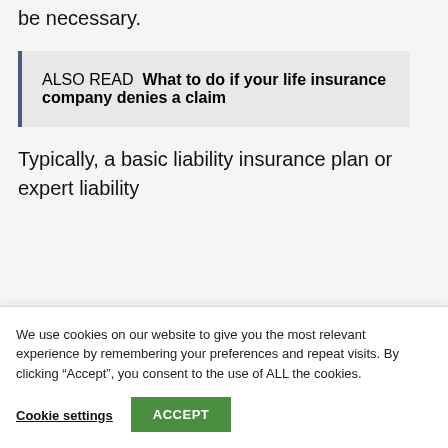be necessary.
ALSO READ  What to do if your life insurance company denies a claim
Typically, a basic liability insurance plan or expert liability
We use cookies on our website to give you the most relevant experience by remembering your preferences and repeat visits. By clicking “Accept”, you consent to the use of ALL the cookies.
Cookie settings
ACCEPT